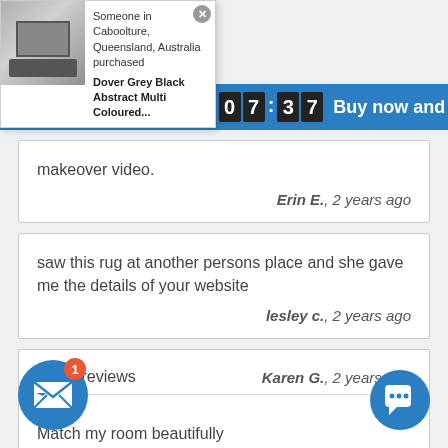[Figure (screenshot): Purchase notification popup showing a room with a grey rug, text 'Someone in Caboolture, Queensland, Australia purchased Dover Grey Black Abstract Multi Coloured...' with a close button]
Someone in Caboolture, Queensland, Australia purchased
Dover Grey Black Abstract Multi Coloured...
21:07:37  Buy now and save!
makeover video.
Erin E., 2 years ago
saw this rug at another persons place and she gave me the details of your website
lesley c., 2 years ago
Great reviews
Karen G., 2 years ago
Match my room beautifully